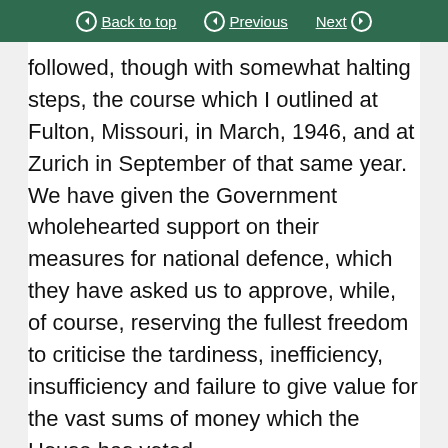Back to top | Previous | Next
followed, though with somewhat halting steps, the course which I outlined at Fulton, Missouri, in March, 1946, and at Zurich in September of that same year. We have given the Government wholehearted support on their measures for national defence, which they have asked us to approve, while, of course, reserving the fullest freedom to criticise the tardiness, inefficiency, insufficiency and failure to give value for the vast sums of money which the House has voted.
Naturally, I am glad that the Prime Minister and others are at length converted to the principle of a European Army or an Atlantic Defence Force—we will not quarrel about the terminology when the principle is the same—of an army of this character